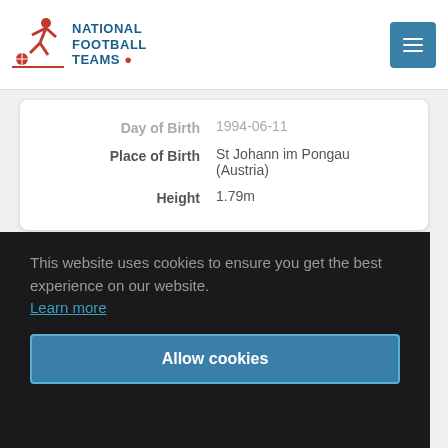National Football Teams
| Field | Value |
| --- | --- |
| Day of Birth | 1994-06-11 |
| Place of Birth | St Johann im Pongau (Austria) |
| Height | 1.79m |
This website uses cookies to ensure you get the best experience on our website.
Learn more
Allow cookies